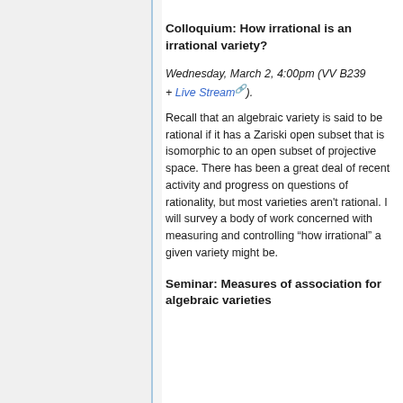Colloquium: How irrational is an irrational variety?
Wednesday, March 2, 4:00pm (VV B239 + Live Stream).
Recall that an algebraic variety is said to be rational if it has a Zariski open subset that is isomorphic to an open subset of projective space. There has been a great deal of recent activity and progress on questions of rationality, but most varieties aren't rational. I will survey a body of work concerned with measuring and controlling “how irrational” a given variety might be.
Seminar: Measures of association for algebraic varieties